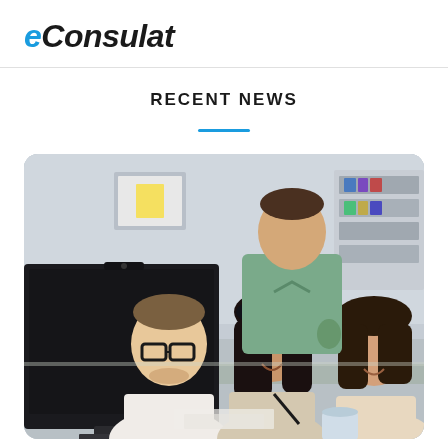eConsulat
RECENT NEWS
[Figure (photo): Four young professionals (three women and one man with glasses) gathered around a computer monitor in an office setting, smiling and looking at the screen. A man standing behind them leans over to look at the monitor as well.]